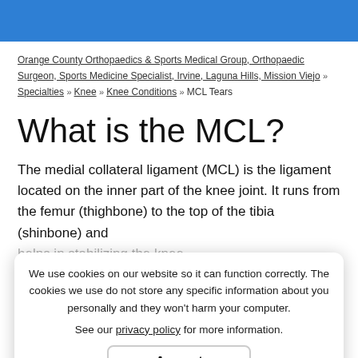Orange County Orthopaedics & Sports Medical Group, Orthopaedic Surgeon, Sports Medicine Specialist, Irvine, Laguna Hills, Mission Viejo >> Specialties >> Knee >> Knee Conditions >> MCL Tears
What is the MCL?
The medial collateral ligament (MCL) is the ligament located on the inner part of the knee joint. It runs from the femur (thighbone) to the top of the tibia (shinbone) and helps in stabilizing the knee.
Causes of MCL Tears
An MCL injury can result in a stretch, partial tear or complete tear of the ligament. Injuries to the MCL commonly occur because of pressure or stress applied
We use cookies on our website so it can function correctly. The cookies we use do not store any specific information about you personally and they won't harm your computer.

See our privacy policy for more information.

Accept